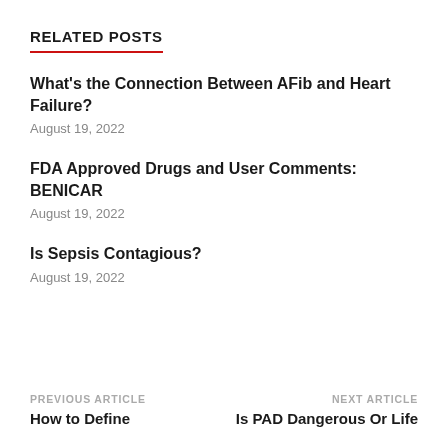RELATED POSTS
What’s the Connection Between AFib and Heart Failure?
August 19, 2022
FDA Approved Drugs and User Comments: BENICAR
August 19, 2022
Is Sepsis Contagious?
August 19, 2022
PREVIOUS ARTICLE
How to Define

NEXT ARTICLE
Is PAD Dangerous Or Life